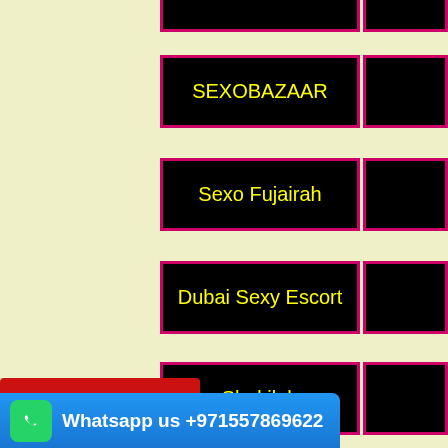SEXOBAZAAR
Sexo Fujairah
Dubai Sexy Escort
Shakilah
Call Now! +971557869622
Zooria
Whatsapp us +971557869622